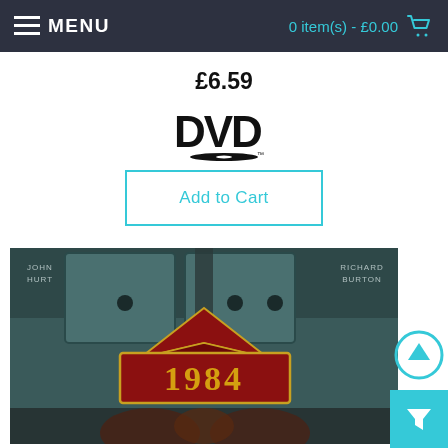MENU   0 item(s) - £0.00
£6.59
[Figure (logo): DVD logo in black and white]
Add to Cart
[Figure (photo): 1984 movie DVD cover showing John Hurt and Richard Burton, dark dystopian imagery with large '1984' text in a red plaque]